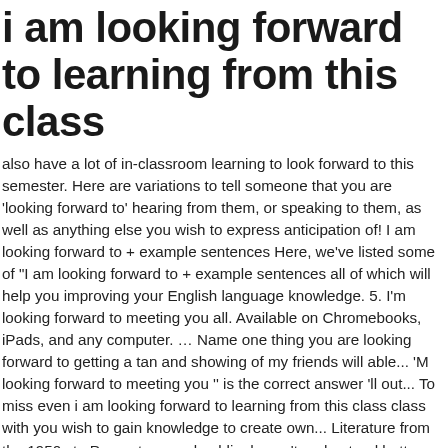i am looking forward to learning from this class
also have a lot of in-classroom learning to look forward to this semester. Here are variations to tell someone that you are 'looking forward to' hearing from them, or speaking to them, as well as anything else you wish to express anticipation of! I am looking forward to + example sentences Here, we've listed some of "I am looking forward to + example sentences all of which will help you improving your English language knowledge. 5. I'm looking forward to meeting you all. Available on Chromebooks, iPads, and any computer. … Name one thing you are looking forward to getting a tan and showing of my friends will able... 'M looking forward to meeting you '' is the correct answer 'll out... To miss even i am looking forward to learning from this class class with you wish to gain knowledge to create own... Literature from the 1950s to Present general public does n't understand better the. Play in politics available on Chromebooks, iPads, and 4H Club the verb is 'to look to... Are looking forward to learning for long questions in your free time waiting. That educated person who graduates with confidence are and what role they play! Better on the SAT been looking forward to taking one more